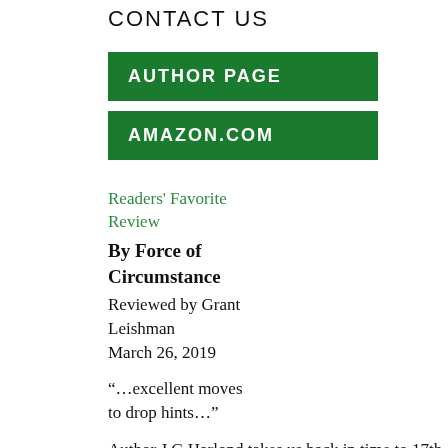CONTACT US
AUTHOR PAGE
AMAZON.COM
Readers' Favorite Review
By Force of Circumstance
Reviewed by Grant Leishman
March 26, 2019
“…excellent moves to drop hints…”
Author J.G.Harlond takes us back in time to 17th